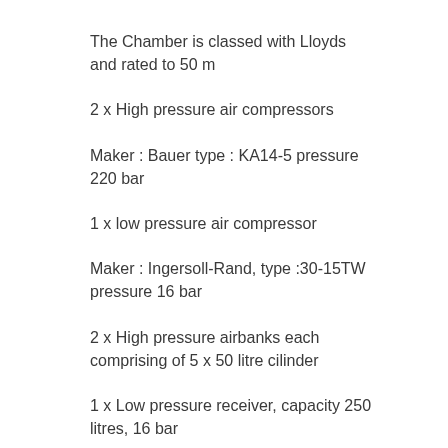The Chamber is classed with Lloyds and rated to 50 m
2 x High pressure air compressors
Maker : Bauer type : KA14-5 pressure 220 bar
1 x low pressure air compressor
Maker : Ingersoll-Rand, type :30-15TW pressure 16 bar
2 x High pressure airbanks each comprising of 5 x 50 litre cilinder
1 x Low pressure receiver, capacity 250 litres, 16 bar